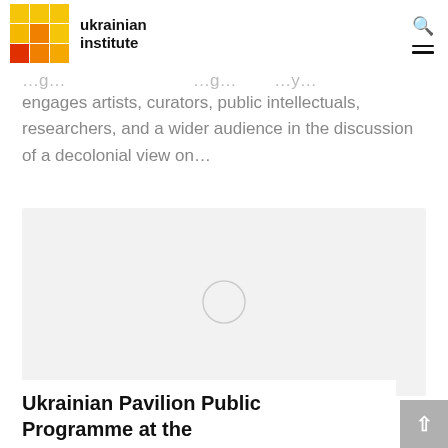ukrainian institute
engages artists, curators, public intellectuals, researchers, and a wider audience in the discussion of a decolonial view on…
[Figure (photo): Light grey image placeholder with a circular loading spinner in the center]
Ukrainian Pavilion Public Programme at the